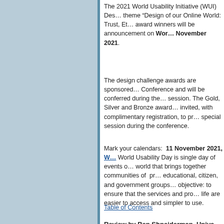The 2021 World Usability Initiative (WUI) Design challenge theme "Design of our Online World: Trust, Ethics, and Responsibility" award winners will be announcement on World Usability Day, 11 November 2021.
The design challenge awards are sponsored by the HFES Conference and will be conferred during the opening plenary session. The Gold, Silver and Bronze award winners are invited, with complimentary registration, to present at a special session during the conference.
Mark your calendars:  11 November 2021, World Usability Day. World Usability Day is single day of events occurring around the world that brings together communities of  professionals, educational, citizen, and government groups all with a common objective: to ensure that the services and products that fill our life are easier to access and simpler to use.
Table of Contents
Review by Ben Shneiderman, University of Maryland
"Handbook of Human Factors and Ergonomics" 5th edition (Wiley, 2021)
edited by Gavriel Salvendy and Waldemar Karwowski
https://www.wiley.com/en-us/Handbook+of+Human+Factors+and+Ergonomics,+5th+Edition-p-9781119636083
A bountiful buffet of brilliant reviews! This m...